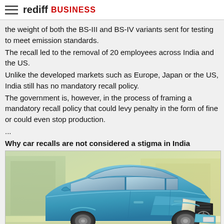rediff BUSINESS
the weight of both the BS-III and BS-IV variants sent for testing to meet emission standards.
The recall led to the removal of 20 employees across India and the US.
Unlike the developed markets such as Europe, Japan or the US, India still has no mandatory recall policy.
The government is, however, in the process of framing a mandatory recall policy that could levy penalty in the form of fine or could even stop production.
...
Why car recalls are not considered a stigma in India
[Figure (photo): Photo of a blue Toyota car (SUV/MPV), front three-quarter view, parked against a soft green/yellow background. The Toyota badge is visible on the front grille.]